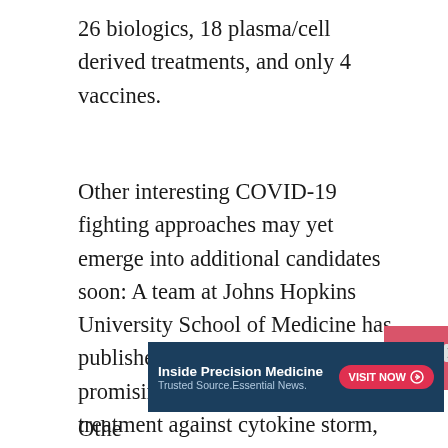26 biologics, 18 plasma/cell derived treatments, and only 4 vaccines.
Other interesting COVID-19 fighting approaches may yet emerge into additional candidates soon: A team at Johns Hopkins University School of Medicine has published a preprint showing promising results for prazosin as a treatment against cytokine storm, among the worst effects associated with the virus. In the U.K., Ossianix is screening its library of VNAR antibodies that bind to the human transferrin receptor and can target the lung in rodents and non-human primates for their effect against SARS-CoV-2.
[Figure (other): Pink/rose colored back-to-top button with upward chevron arrow, positioned at bottom right]
[Figure (other): Advertisement banner for Inside Precision Medicine: dark navy background, white bold title 'Inside Precision Medicine', subtitle 'Trusted Source.Essential News.', red 'VISIT NOW' button with arrow, close X button]
Othe